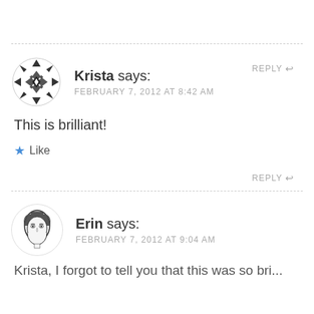REPLY ↩
[Figure (illustration): Geometric diamond/snowflake pattern avatar for Krista, black and white geometric design in a circle]
Krista says:
FEBRUARY 7, 2012 AT 8:42 AM
This is brilliant!
★ Like
REPLY ↩
[Figure (illustration): Retro line-art portrait of a woman (Erin) in a circle avatar]
Erin says:
FEBRUARY 7, 2012 AT 9:04 AM
Krista, I forgot to tell you that this was so bri...